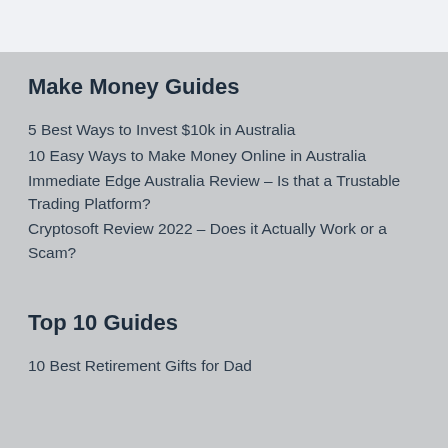Make Money Guides
5 Best Ways to Invest $10k in Australia
10 Easy Ways to Make Money Online in Australia
Immediate Edge Australia Review – Is that a Trustable Trading Platform?
Cryptosoft Review 2022 – Does it Actually Work or a Scam?
Top 10 Guides
10 Best Retirement Gifts for Dad